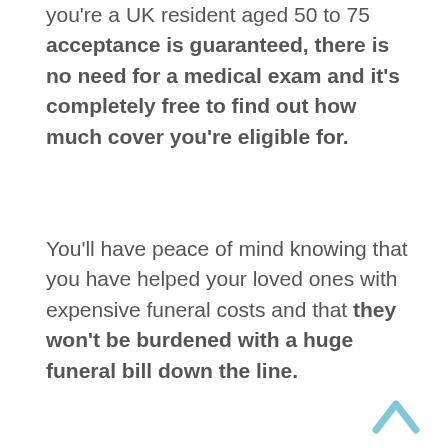you're a UK resident aged 50 to 75 acceptance is guaranteed, there is no need for a medical exam and it's completely free to find out how much cover you're eligible for.
You'll have peace of mind knowing that you have helped your loved ones with expensive funeral costs and that they won't be burdened with a huge funeral bill down the line.